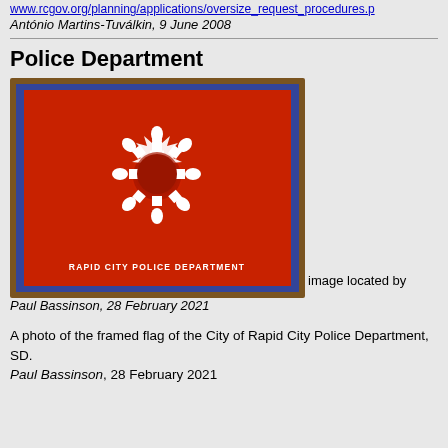www.rcgov.org/planning/applications/oversize_request_procedures.p
António Martins-Tuválkin, 9 June 2008
Police Department
[Figure (photo): A framed flag of the Rapid City Police Department hanging on a wall. The flag is red with a white sun-like symbol featuring eight human figures arranged in a circle with arms and legs outstretched. The text 'RAPID CITY POLICE DEPARTMENT' appears at the bottom of the flag. The flag is mounted in a dark wooden frame with a blue border.]
image located by
Paul Bassinson, 28 February 2021
A photo of the framed flag of the City of Rapid City Police Department, SD.
Paul Bassinson, 28 February 2021